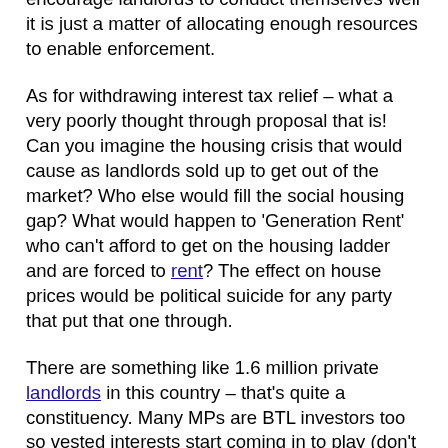anyway, there is plenty of legislation to encourage landlords to conduct themselves well it is just a matter of allocating enough resources to enable enforcement.
As for withdrawing interest tax relief – what a very poorly thought through proposal that is! Can you imagine the housing crisis that would cause as landlords sold up to get out of the market? Who else would fill the social housing gap? What would happen to 'Generation Rent' who can't afford to get on the housing ladder and are forced to rent? The effect on house prices would be political suicide for any party that put that one through.
There are something like 1.6 million private landlords in this country – that's quite a constituency. Many MPs are BTL investors too so vested interests start coming in to play (don't they always). One in ten Labour MPs are BTL investors so even Labour wouldn't go that far.